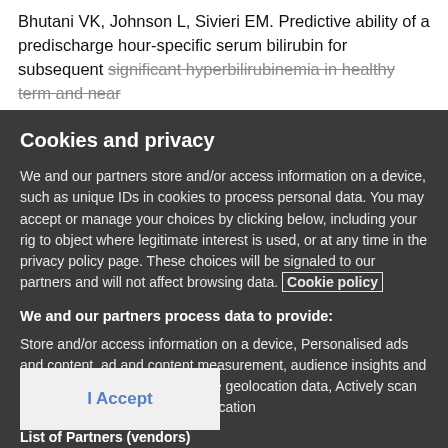Bhutani VK, Johnson L, Sivieri EM. Predictive ability of a predischarge hour-specific serum bilirubin for subsequent significant hyperbilirubinemia in healthy term and near
Cookies and privacy
We and our partners store and/or access information on a device, such as unique IDs in cookies to process personal data. You may accept or manage your choices by clicking below, including your rig to object where legitimate interest is used, or at any time in the privacy policy page. These choices will be signaled to our partners and will not affect browsing data. Cookie policy
We and our partners process data to provide:
Store and/or access information on a device, Personalised ads and content, ad and content measurement, audience insights and produ development, Use precise geolocation data, Actively scan device characteristics for identification
List of Partners (vendors)
I Accept